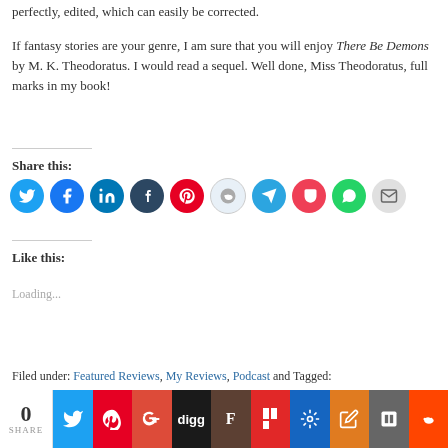perfectly, edited, which can easily be corrected.
If fantasy stories are your genre, I am sure that you will enjoy There Be Demons by M. K. Theodoratus. I would read a sequel. Well done, Miss Theodoratus, full marks in my book!
Share this:
[Figure (infographic): Row of social media share buttons as colored circles: Twitter (blue), Facebook (blue), LinkedIn (blue), Tumblr (dark blue), Pinterest (red), Reddit (light blue/grey), Telegram (blue), Pocket (red), WhatsApp (green), Email (grey)]
Like this:
Loading...
Filed under: Featured Reviews, My Reviews, Podcast and Tagged:
[Figure (infographic): Social sharing bar at bottom with share count 0, and colored buttons for Twitter, Pinterest, Google+, Digg, StumbleUpon, Flipboard, and others]